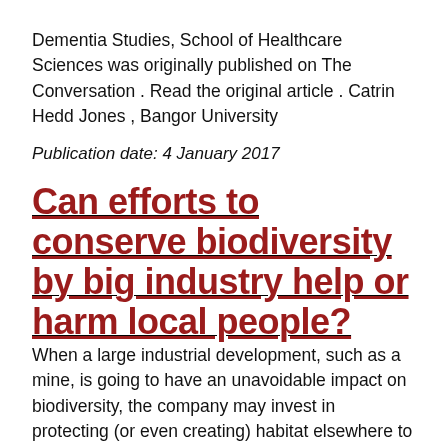Dementia Studies, School of Healthcare Sciences was originally published on The Conversation . Read the original article . Catrin Hedd Jones , Bangor University
Publication date: 4 January 2017
Can efforts to conserve biodiversity by big industry help or harm local people?
When a large industrial development, such as a mine, is going to have an unavoidable impact on biodiversity, the company may invest in protecting (or even creating) habitat elsewhere to compensate